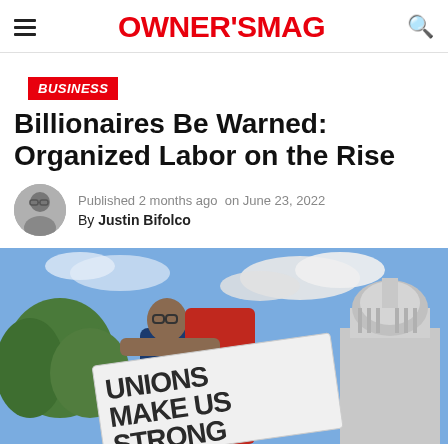OWNER'SMAG
BUSINESS
Billionaires Be Warned: Organized Labor on the Rise
Published 2 months ago on June 23, 2022
By Justin Bifolco
[Figure (photo): A person holding a large sign reading 'UNIONS MAKE US STRONG' in front of the US Capitol building, with trees and cloudy sky visible in the background.]